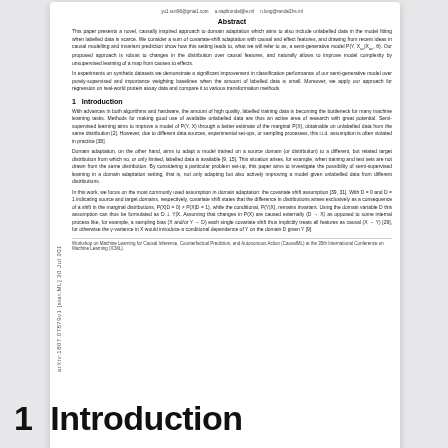[Figure (screenshot): Thumbnail preview of an arXiv scientific paper about domain adaptation with causal knowledge, showing the abstract and introduction sections. arXiv ID: 1807.07879v1 [stat.ML] 20 Jul 2018.]
Julius von Kügelgen, et al. · share
1  Introduction